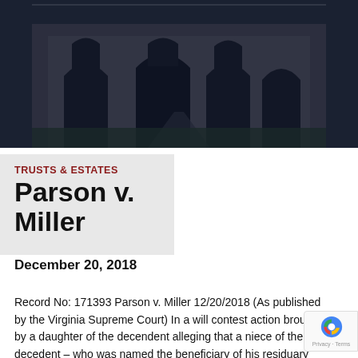[Figure (photo): Exterior photo of a brick building with arched doorways and windows, overlaid with a dark blue tint. The building appears to be a courthouse or institutional building.]
TRUSTS & ESTATES
Parson v. Miller
December 20, 2018
Record No: 171393 Parson v. Miller 12/20/2018 (As published by the Virginia Supreme Court) In a will contest action brought by a daughter of the decedent alleging that a niece of the decedent – who was named the beneficiary of his residuary estate – had